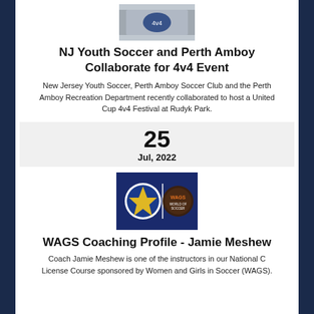[Figure (photo): Photo of a 4v4 soccer event banner/setup at Rudyk Park]
NJ Youth Soccer and Perth Amboy Collaborate for 4v4 Event
New Jersey Youth Soccer, Perth Amboy Soccer Club and the Perth Amboy Recreation Department recently collaborated to host a United Cup 4v4 Festival at Rudyk Park.
25
Jul, 2022
[Figure (logo): WAGS and NJ Youth Soccer logos on blue background]
WAGS Coaching Profile - Jamie Meshew
Coach Jamie Meshew is one of the instructors in our National C License Course sponsored by Women and Girls in Soccer (WAGS).